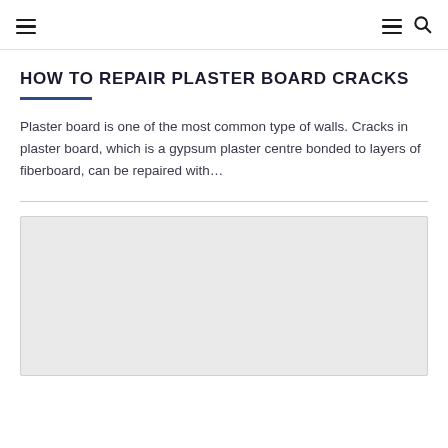≡  ≡ 🔍
HOW TO REPAIR PLASTER BOARD CRACKS
Plaster board is one of the most common type of walls. Cracks in plaster board, which is a gypsum plaster centre bonded to layers of fiberboard, can be repaired with...
[Figure (other): Advertisement or placeholder image block with light gray background]